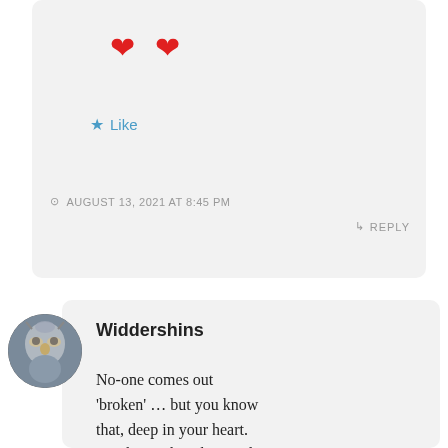[Figure (other): Two red heart emojis side by side]
Like
AUGUST 13, 2021 AT 8:45 PM
REPLY
[Figure (photo): Circular avatar showing a person wearing a decorative masquerade mask]
Widdershins
No-one comes out 'broken' … but you know that, deep in your heart. You know the why's and